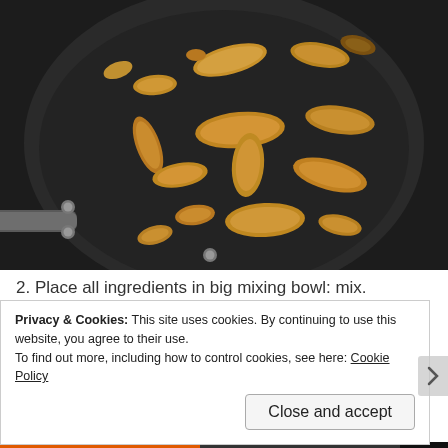[Figure (photo): A black non-stick frying pan with cooked, browned chicken pieces scattered across the surface, viewed from above.]
2. Place all ingredients in big mixing bowl: mix.
Privacy & Cookies: This site uses cookies. By continuing to use this website, you agree to their use.
To find out more, including how to control cookies, see here: Cookie Policy
Close and accept